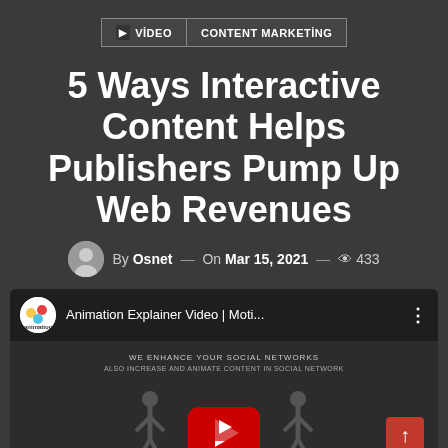VIDEO | CONTENT MARKETING
5 Ways Interactive Content Helps Publishers Pump Up Web Revenues
By Osnet — On Mar 15, 2021 — 433
[Figure (screenshot): Embedded YouTube video player showing 'Animation Explainer Video | Moti...' with stick figures and a red play button in the center]